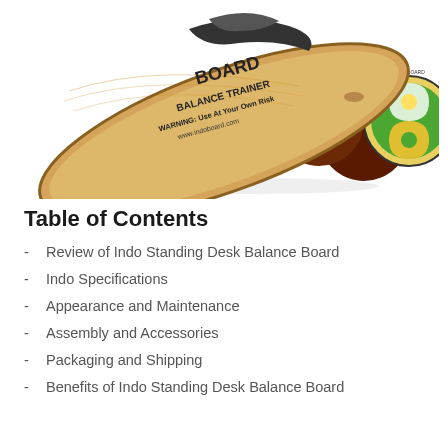[Figure (photo): Photo of an Indo Board Balance Trainer - a wooden oval balance board leaning on a cylindrical roller. The board has text reading 'BOARD', 'BALANCE TRAINER', 'WARNING: Use At Your Own Risk', 'www.indoboard.com'. The roller end cap shows the Indo Board logo with green and yellow yin-yang style design.]
Table of Contents
Review of Indo Standing Desk Balance Board
Indo Specifications
Appearance and Maintenance
Assembly and Accessories
Packaging and Shipping
Benefits of Indo Standing Desk Balance Board